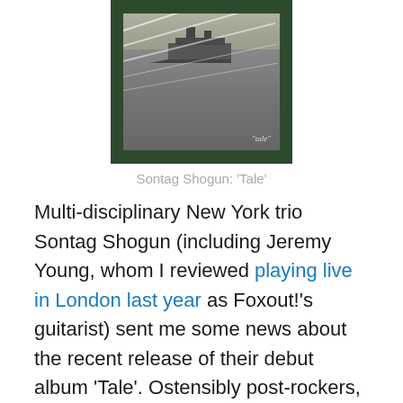[Figure (photo): Album cover of Sontag Shogun's 'Tale' — a dark green bordered photograph showing an aerial or elevated view of a ship on choppy ocean water with white scratch lines across the image; the word 'tale' appears in italic text in the lower right of the photo.]
Sontag Shogun: 'Tale'
Multi-disciplinary New York trio Sontag Shogun (including Jeremy Young, whom I reviewed playing live in London last year as Foxout!'s guitarist) sent me some news about the recent release of their debut album 'Tale'. Ostensibly post-rockers, Sontag Shogun don't conform much to the genre's more insular tendencies, being made up of three restless multi-media artists moving from craft to craft and from continent to continent. Jeremy, for instance, also co-runs the band's not-just-a-record-label Palaver Press, which unifies sound publication with assorted texts and